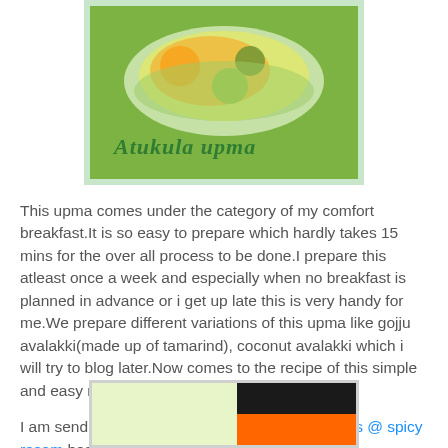[Figure (photo): Photo of Atukula upma dish in a bowl, with green script text overlay reading 'Atukula upma']
This upma comes under the category of my comfort breakfast.It is so easy to prepare which hardly takes 15 mins for the over all process to be done.I prepare this atleast once a week and especially when no breakfast is planned in advance or i get up late this is very handy for me.We prepare different variations of this upma like gojju avalakki(made up of tamarind), coconut avalakki which i will try to blog later.Now comes to the recipe of this simple and easy recipe of poha.
I am sending this entry for Single Serving Recipes @ spicy rasam hosted by sahaja.
[Figure (photo): Partial photo of another food dish, showing a light green section on the left and a dark/orange section on the right]